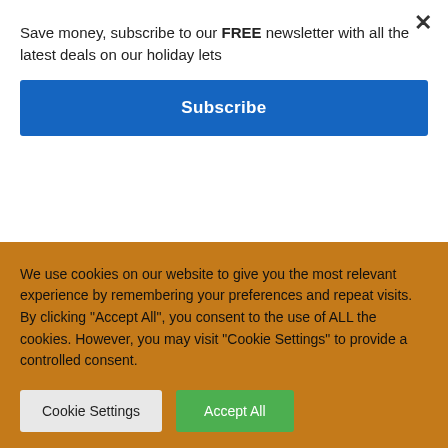Save money, subscribe to our FREE newsletter with all the latest deals on our holiday lets
Subscribe
Email – tanrhiwcriccieth@gmail.com
Phone – 07817394975/07748322030
Share on...
We use cookies on our website to give you the most relevant experience by remembering your preferences and repeat visits. By clicking "Accept All", you consent to the use of ALL the cookies. However, you may visit "Cookie Settings" to provide a controlled consent.
Cookie Settings
Accept All